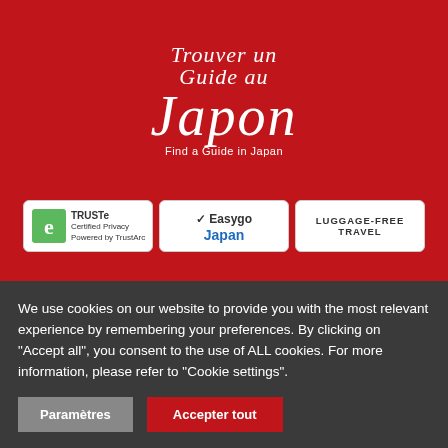[Figure (logo): Trouver un Guide au Japon / Find a Guide in Japan logo with cursive white text on red background]
[Figure (logo): TRUSTe Certified Privacy Powered by TrustArc badge]
[Figure (logo): Easygo Japan badge]
[Figure (logo): Luggage-Free Travel badge]
LINKS
Home
We use cookies on our website to provide you with the most relevant experience by remembering your preferences. By clicking on "Accept all", you consent to the use of ALL cookies. For more information, please refer to "Cookie settings".
Paramètres
Accepter tout